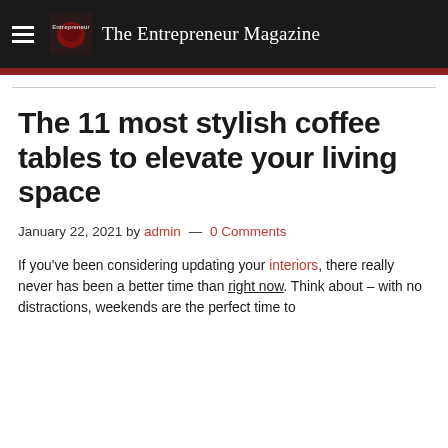The Entrepreneur Magazine
The 11 most stylish coffee tables to elevate your living space
January 22, 2021 by admin — 0 Comments
If you've been considering updating your interiors, there really never has been a better time than right now. Think about – with no distractions, weekends are the perfect time to